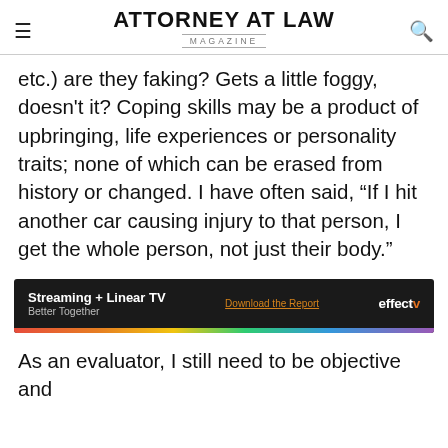ATTORNEY AT LAW MAGAZINE
etc.) are they faking? Gets a little foggy, doesn't it? Coping skills may be a product of upbringing, life experiences or personality traits; none of which can be erased from history or changed. I have often said, “If I hit another car causing injury to that person, I get the whole person, not just their body.”
[Figure (other): Advertisement banner for Effectv: 'Streaming + Linear TV — Better Together'. Includes a 'Download the Report' link and the Effectv logo on a dark background with a rainbow gradient bar at the bottom.]
As an evaluator, I still need to be objective and